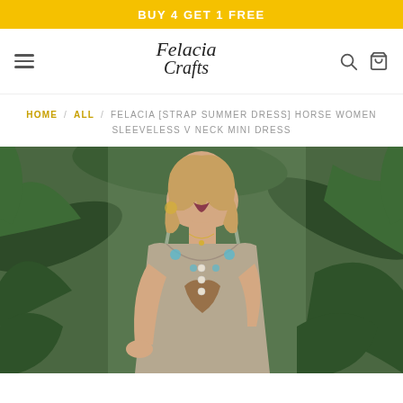BUY 4 GET 1 FREE
[Figure (logo): Felacia Crafts store logo in italic serif font]
HOME / ALL / FELACIA [STRAP SUMMER DRESS] HORSE WOMEN SLEEVELESS V NECK MINI DRESS
[Figure (photo): Woman wearing a sleeveless V-neck mini dress with horse and floral print, standing in front of tropical plants]